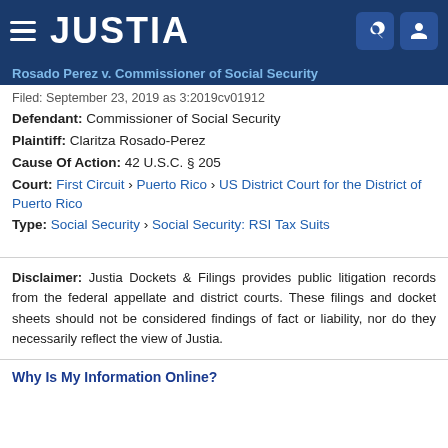JUSTIA
Rosado Perez v. Commissioner of Social Security
Filed: September 23, 2019 as 3:2019cv01912
Defendant: Commissioner of Social Security
Plaintiff: Claritza Rosado-Perez
Cause Of Action: 42 U.S.C. § 205
Court: First Circuit › Puerto Rico › US District Court for the District of Puerto Rico
Type: Social Security › Social Security: RSI Tax Suits
Disclaimer: Justia Dockets & Filings provides public litigation records from the federal appellate and district courts. These filings and docket sheets should not be considered findings of fact or liability, nor do they necessarily reflect the view of Justia.
Why Is My Information Online?